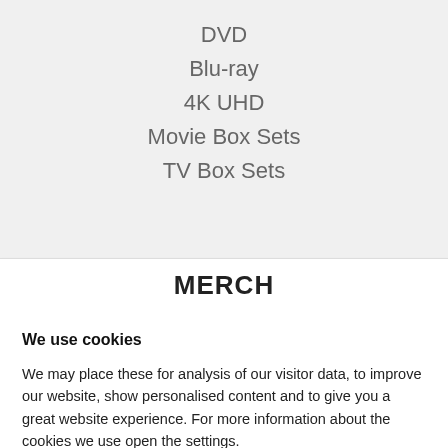DVD
Blu-ray
4K UHD
Movie Box Sets
TV Box Sets
MERCH
We use cookies
We may place these for analysis of our visitor data, to improve our website, show personalised content and to give you a great website experience. For more information about the cookies we use open the settings.
ACCEPT ALL
DENY
NO, ADJUST